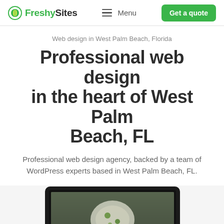FreshySites — Menu — Get a quote
Web design in West Palm Beach, Florida
Professional web design in the heart of West Palm Beach, FL
Professional web design agency, backed by a team of WordPress experts based in West Palm Beach, FL.
[Figure (screenshot): Laptop and tablet showing a food website with text ALWAYS Fresh, ALWAYS Homemade]